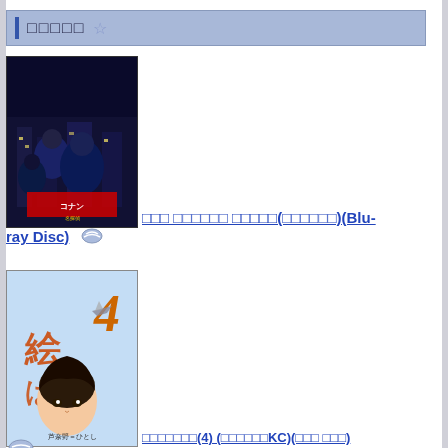□□□□□ ☆
[Figure (illustration): Anime manga book cover - Detective Conan Blu-ray Disc, dark blue action scene with characters]
□□□ □□□□□□ □□□□□(□□□□□□)(Blu-ray Disc) ≈
[Figure (illustration): Manga book cover volume 4, aviation theme with girl character, author: 芦奈野ひとし]
□□□□□□□(4) (□□□□□□KC)(□□□ □□□)